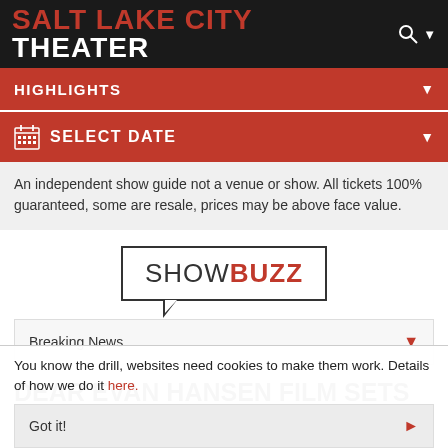SALT LAKE CITY THEATER
HIGHLIGHTS
SELECT DATE
An independent show guide not a venue or show. All tickets 100% guaranteed, some are resale, prices may be above face value.
[Figure (logo): ShowBuzz speech bubble logo with SHOW in dark text and BUZZ in red bold text]
Breaking News
DEAR EVAN HANSEN FILM SETS DATE!
You know the drill, websites need cookies to make them work. Details of how we do it here.
Got it!